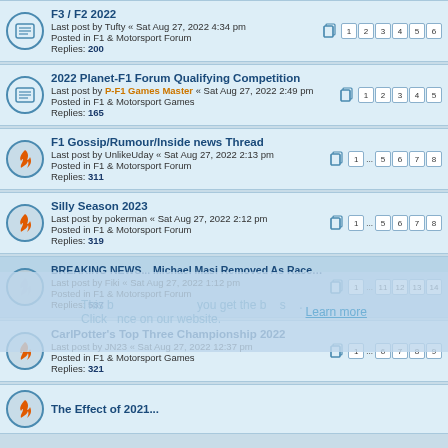F3 / F2 2022 — Last post by Tufty « Sat Aug 27, 2022 4:34 pm — Posted in F1 & Motorsport Forum — Replies: 200
2022 Planet-F1 Forum Qualifying Competition — Last post by P-F1 Games Master « Sat Aug 27, 2022 2:49 pm — Posted in F1 & Motorsport Games — Replies: 165
F1 Gossip/Rumour/Inside news Thread — Last post by UnlikeUday « Sat Aug 27, 2022 2:13 pm — Posted in F1 & Motorsport Forum — Replies: 311
Silly Season 2023 — Last post by pokerman « Sat Aug 27, 2022 2:12 pm — Posted in F1 & Motorsport Forum — Replies: 319
BREAKING NEWS... Michael Masi Removed As Race Director — Last post by Fiki « Sat Aug 27, 2022 1:12 pm — Posted in F1 & Motorsport Forum — Replies: 537
CarlPotter's Top Three Championship 2022 — Last post by JN23 « Sat Aug 27, 2022 12:37 pm — Posted in F1 & Motorsport Games — Replies: 321
The Effect of 2021... (partial)